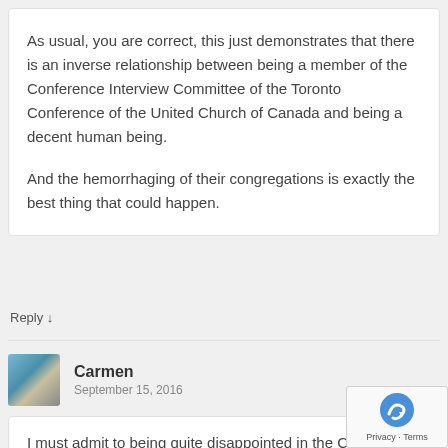As usual, you are correct, this just demonstrates that there is an inverse relationship between being a member of the Conference Interview Committee of the Toronto Conference of the United Church of Canada and being a decent human being.

And the hemorrhaging of their congregations is exactly the best thing that could happen.
Reply ↓
Carmen
September 15, 2016
I must admit to being quite disappointed in the Conference for this decision. I was an active member of